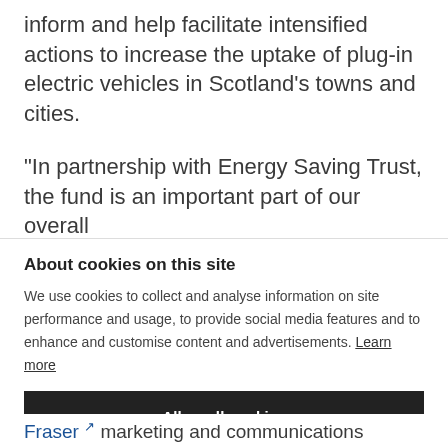inform and help facilitate intensified actions to increase the uptake of plug-in electric vehicles in Scotland's towns and cities.
“In partnership with Energy Saving Trust, the fund is an important part of our overall
About cookies on this site
We use cookies to collect and analyse information on site performance and usage, to provide social media features and to enhance and customise content and advertisements. Learn more
Allow all cookies
COOKIE SETTINGS
Fraser ↗ marketing and communications